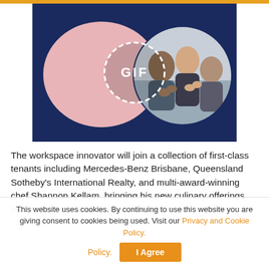[Figure (illustration): Animated GIF banner with dark navy background, a pink organic blob shape on the left, a circular photo of people applauding on the right, and a dashed white circle in the center with the text 'GIF']
The workspace innovator will join a collection of first-class tenants including Mercedes-Benz Brisbane, Queensland Sotheby's International Realty, and multi-award-winning chef Shannon Kellam, bringing his new culinary offerings MICA, Lumiere Events and Culinary Studio, and
This website uses cookies. By continuing to use this website you are giving consent to cookies being used. Visit our Privacy and Cookie Policy.